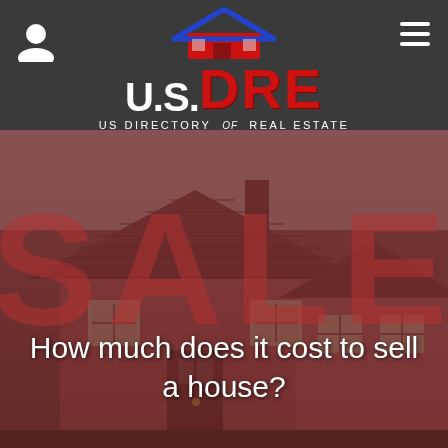[Figure (logo): US DRE - US Directory of Real Estate logo with house icon, white and red text on dark gray header bar]
[Figure (photo): Hero image of a house for sale with large SALE text overlay in red, with a red-tinted overlay]
How much does it cost to sell a house?